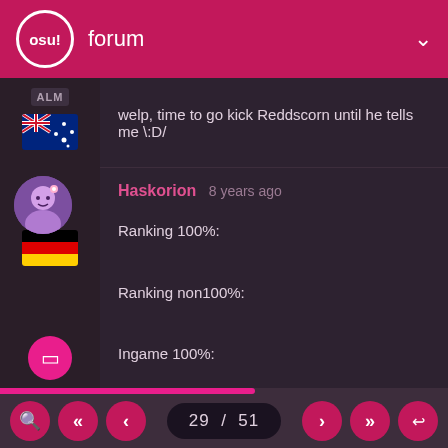osu! forum
welp, time to go kick Reddscorn until he tells me \:D/
Haskorion 8 years ago
Ranking 100%:
Ranking non100%:
Ingame 100%:
Ingame 0%:
Folder:
29 / 51